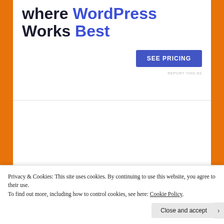where WordPress Works Best
SEE PRICING
REPORT THIS AS
- SEARCH -
Privacy & Cookies: This site uses cookies. By continuing to use this website, you agree to their use.
To find out more, including how to control cookies, see here: Cookie Policy
Close and accept